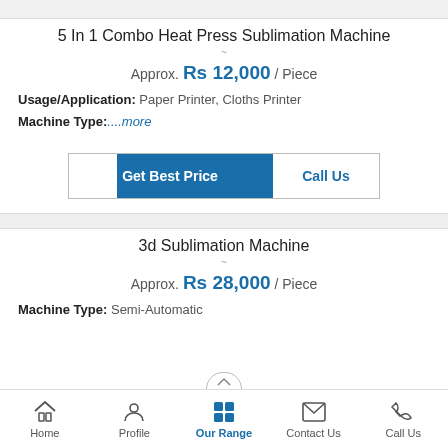5 In 1 Combo Heat Press Sublimation Machine
Approx. Rs 12,000 / Piece
Usage/Application: Paper Printer, Cloths Printer
Machine Type: ....more
[Figure (other): Get Best Price and Call Us buttons]
3d Sublimation Machine
Approx. Rs 28,000 / Piece
Machine Type: Semi-Automatic
Home  Profile  Our Range  Contact Us  Call Us